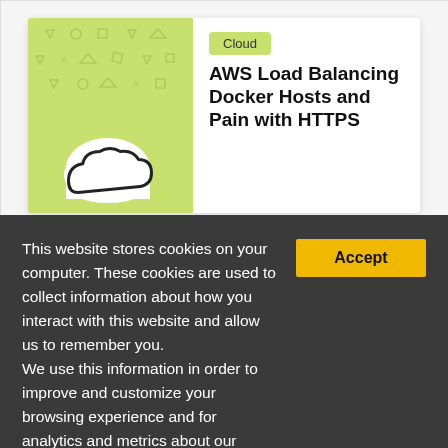[Figure (illustration): Card with green geometric patterned image area showing a cloud icon, a green 'Cloud' tag label, and the article title 'AWS Load Balancing Docker Hosts and Pain with HTTPS']
This website stores cookies on your computer. These cookies are used to collect information about how you interact with this website and allow us to remember you. We use this information in order to improve and customize your browsing experience and for analytics and metrics about our visitors on this website.
If you decline, your information won't be tracked when you visit this website. A single cookie will be used in your browser to remember your preference not to be tracked.